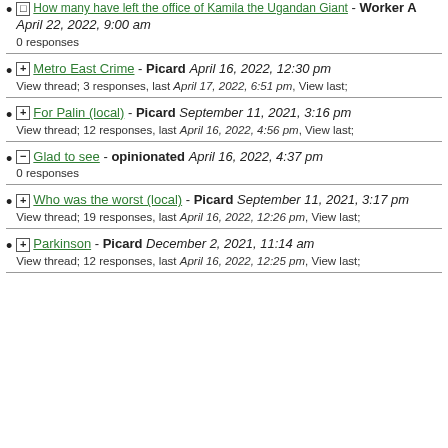How many have left the office of Kamila the Ugandan Giant - Worker A April 22, 2022, 9:00 am
0 responses
Metro East Crime - Picard April 16, 2022, 12:30 pm
View thread; 3 responses, last April 17, 2022, 6:51 pm, View last;
For Palin (local) - Picard September 11, 2021, 3:16 pm
View thread; 12 responses, last April 16, 2022, 4:56 pm, View last;
Glad to see - opinionated April 16, 2022, 4:37 pm
0 responses
Who was the worst (local) - Picard September 11, 2021, 3:17 pm
View thread; 19 responses, last April 16, 2022, 12:26 pm, View last;
Parkinson - Picard December 2, 2021, 11:14 am
View thread; 12 responses, last April 16, 2022, 12:25 pm, View last;